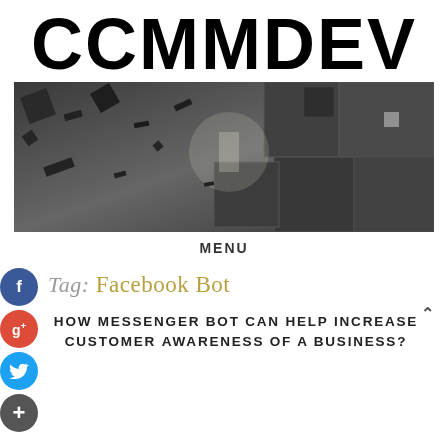CCMMDEV
[Figure (photo): Abstract 3D dark metallic cube blocks floating in a dark grey environment]
MENU
Tag: Facebook Bot
HOW MESSENGER BOT CAN HELP INCREASE CUSTOMER AWARENESS OF A BUSINESS?